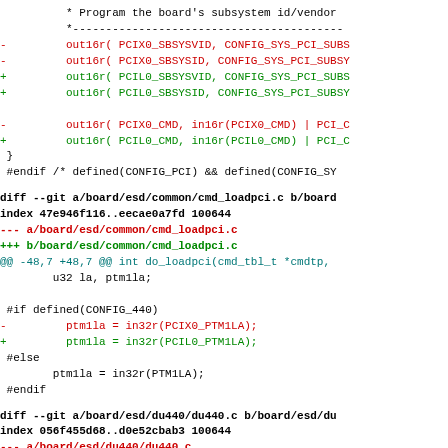* Program the board's subsystem id/vendor
 * ----------------------------------------
-         out16r( PCIX0_SBSYSVID, CONFIG_SYS_PCI_SUBS
-         out16r( PCIX0_SBSYSID, CONFIG_SYS_PCI_SUBSY
+         out16r( PCIL0_SBSYSVID, CONFIG_SYS_PCI_SUBS
+         out16r( PCIL0_SBSYSID, CONFIG_SYS_PCI_SUBSY

-         out16r( PCIX0_CMD, in16r(PCIX0_CMD) | PCI_C
+         out16r( PCIL0_CMD, in16r(PCIL0_CMD) | PCI_C
 }
 #endif /* defined(CONFIG_PCI) && defined(CONFIG_SY
diff --git a/board/esd/common/cmd_loadpci.c b/board
index 47e946f116..eecae0a7fd 100644
--- a/board/esd/common/cmd_loadpci.c
+++ b/board/esd/common/cmd_loadpci.c
@@ -48,7 +48,7 @@ int do_loadpci(cmd_tbl_t *cmdtp,
        u32 la, ptm1la;

 #if defined(CONFIG_440)
-         ptm1la = in32r(PCIX0_PTM1LA);
+         ptm1la = in32r(PCIL0_PTM1LA);
 #else
        ptm1la = in32r(PTM1LA);
 #endif
diff --git a/board/esd/du440/du440.c b/board/esd/du
index 056f455d68..d0e52cbab3 100644
--- a/board/esd/du440/du440.c